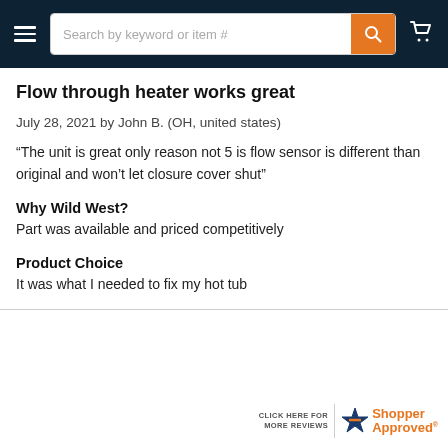Search by keyword or item #
Flow through heater works great
July 28, 2021 by John B. (OH, united states)
“The unit is great only reason not 5 is flow sensor is different than original and won’t let closure cover shut”
Why Wild West?
Part was available and priced competitively
Product Choice
It was what I needed to fix my hot tub
CLICK HERE FOR MORE REVIEWS | Shopper Approved